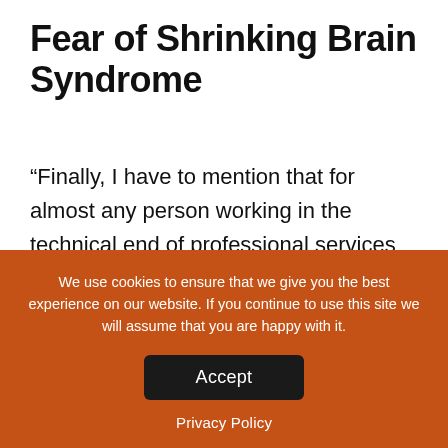Fear of Shrinking Brain Syndrome
“Finally, I have to mention that for almost any person working in the technical end of professional services (software development, IT, etc.), much of our identity is wrapped up in how much we know. I’m no different–it’s a point of pride for me to understand a wide range of
We use cookies to ensure that we give you the best experience on our website. If you continue to use this site we will assume that you are happy with it.
Accept
Privacy Policy